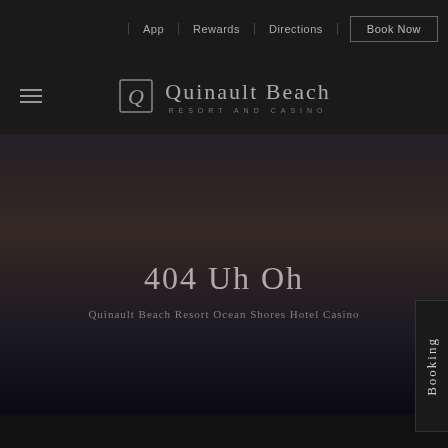App | Rewards | Directions | Book Now
[Figure (logo): Quinault Beach Resort and Casino logo with stylized Q icon]
[Figure (photo): Dark moody beach/coastal sunset landscape with dark sky and sandy ground]
404 Uh Oh
Quinault Beach Resort Ocean Shores Hotel Casino
Booking